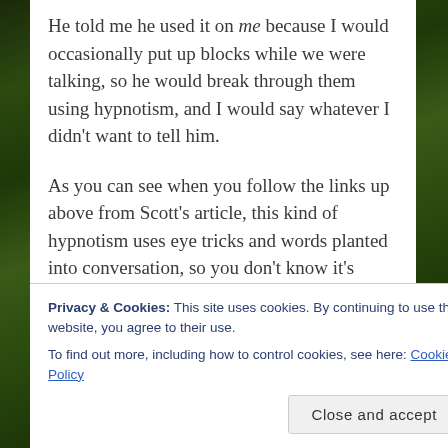He told me he used it on me because I would occasionally put up blocks while we were talking, so he would break through them using hypnotism, and I would say whatever I didn't want to tell him.
As you can see when you follow the links up above from Scott's article, this kind of hypnotism uses eye tricks and words planted into conversation, so you don't know it's happening.
It's the sort of thing used all the time by high
Privacy & Cookies: This site uses cookies. By continuing to use this website, you agree to their use.
To find out more, including how to control cookies, see here: Cookie Policy
interested me: